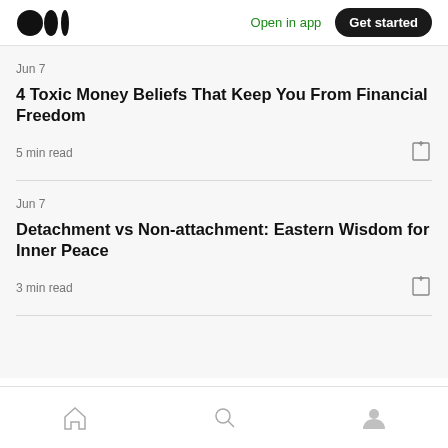Medium logo | Open in app | Get started
Jun 7
4 Toxic Money Beliefs That Keep You From Financial Freedom
5 min read
Jun 7
Detachment vs Non-attachment: Eastern Wisdom for Inner Peace
3 min read
Home | Search | Profile